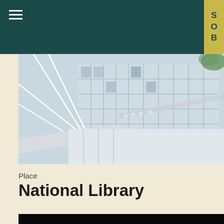SOB
[Figure (photo): Exterior photo of the National Library building showing glass facade, white structural elements, and canopy]
Place
National Library
[Figure (photo): Night photo of a curved glowing light structure against a dark background]